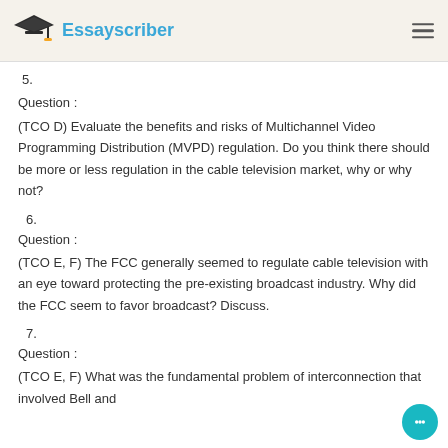Essayscriber
5.
Question :
(TCO D) Evaluate the benefits and risks of Multichannel Video Programming Distribution (MVPD) regulation. Do you think there should be more or less regulation in the cable television market, why or why not?
6.
Question :
(TCO E, F) The FCC generally seemed to regulate cable television with an eye toward protecting the pre-existing broadcast industry. Why did the FCC seem to favor broadcast? Discuss.
7.
Question :
(TCO E, F) What was the fundamental problem of interconnection that involved Bell and